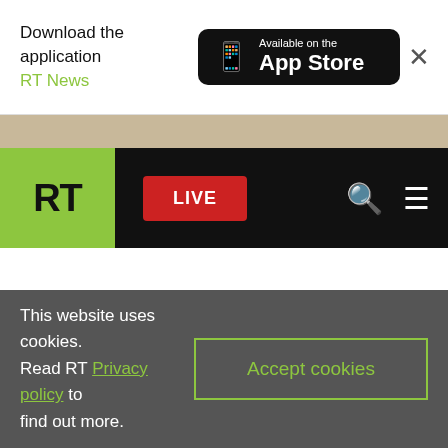Download the application RT News   Available on the App Store   ×
[Figure (screenshot): RT website navigation bar with green RT logo, red LIVE button, search icon, and hamburger menu on black background]
This website uses cookies. Read RT Privacy policy to find out more.
Accept cookies